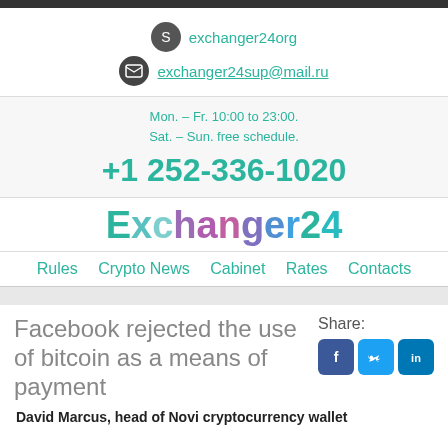exchanger24org
exchanger24sup@mail.ru
Mon. – Fr. 10:00 to 23:00.
Sat. – Sun. free schedule.
+1 252-336-1020
[Figure (logo): Exchanger24 colorful logo text]
Rules  Crypto News  Cabinet  Rates  Contacts
Facebook rejected the use of bitcoin as a means of payment
Share:
David Marcus, head of Novi cryptocurrency wallet